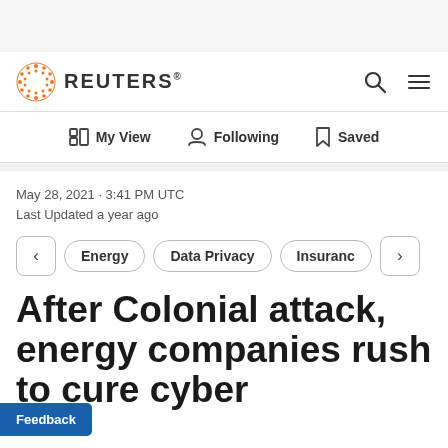REUTERS
May 28, 2021 · 3:41 PM UTC
Last Updated a year ago
Energy
Data Privacy
Insurance
After Colonial attack, energy companies rush to secure cyber